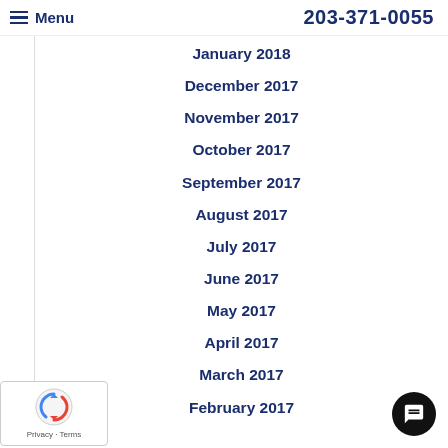Menu   203-371-0055
January 2018
December 2017
November 2017
October 2017
September 2017
August 2017
July 2017
June 2017
May 2017
April 2017
March 2017
February 2017